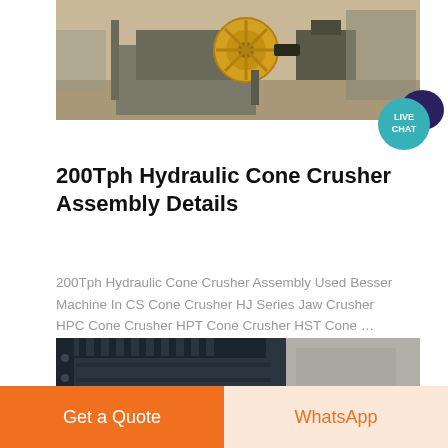[Figure (photo): Industrial hydraulic cone crusher machine on a factory floor, showing mechanical components and drive belt]
200Tph Hydraulic Cone Crusher Assembly Details
200Tph Hydraulic Cone Crusher Assembly Used Besser Machine In CS Cone Crusher HJ Series Jaw Crusher HPC Cone Crusher HPT Cone Crusher HST Cone …
[Figure (photo): Close-up of industrial crusher jaw plates and concrete material, showing dark steel components and rocky aggregate]
Get a Quote
WhatsApp